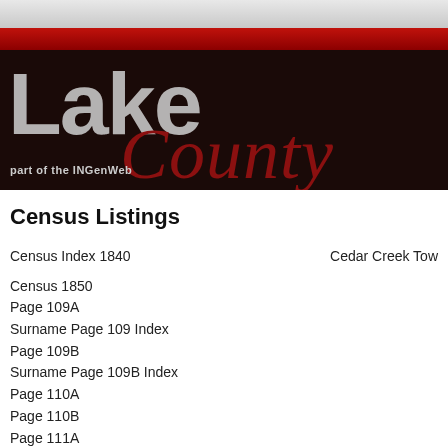[Figure (logo): Lake County INGenWeb logo banner with dark background, red accent bar, large 'Lake' text in gray and 'County' in dark red italic, subtitle 'part of the INGenWeb']
Census Listings
Census Index 1840    Cedar Creek Tow
Census 1850
Page 109A
Surname Page 109 Index
Page 109B
Surname Page 109B Index
Page 110A
Page 110B
Page 111A
Page 111B